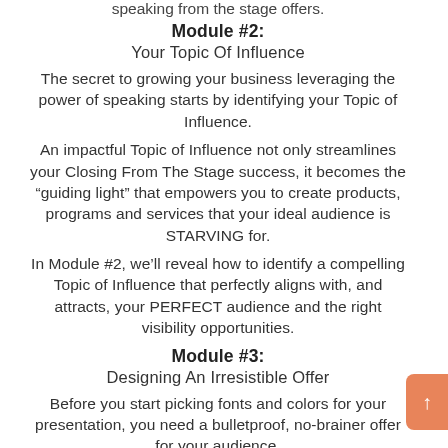speaking from the stage offers.
Module #2:
Your Topic Of Influence
The secret to growing your business leveraging the power of speaking starts by identifying your Topic of Influence.
An impactful Topic of Influence not only streamlines your Closing From The Stage success, it becomes the “guiding light” that empowers you to create products, programs and services that your ideal audience is STARVING for.
In Module #2, we’ll reveal how to identify a compelling Topic of Influence that perfectly aligns with, and attracts, your PERFECT audience and the right visibility opportunities.
Module #3:
Designing An Irresistible Offer
Before you start picking fonts and colors for your presentation, you need a bulletproof, no-brainer offer for your audience.